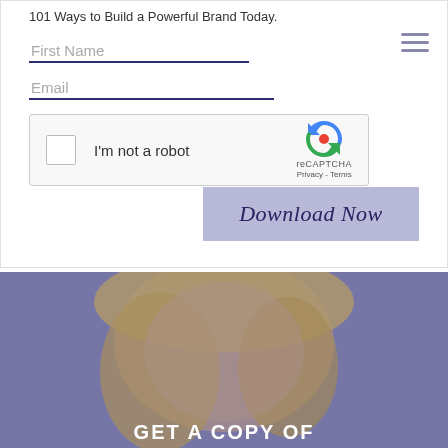101 Ways to Build a Powerful Brand Today.
First Name
Email
[Figure (screenshot): reCAPTCHA widget with checkbox labeled 'I'm not a robot', reCAPTCHA logo, and Privacy/Terms links]
Download Now
[Figure (photo): Blonde woman against purple/blue background with text 'GET A COPY OF' at the bottom]